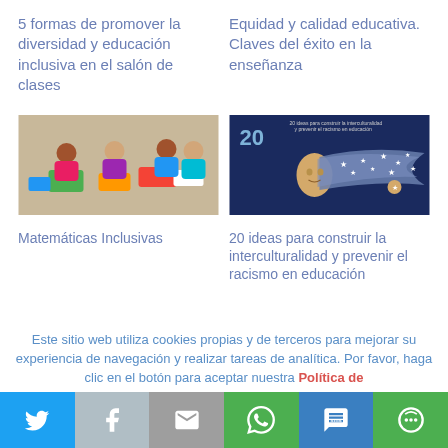5 formas de promover la diversidad y educación inclusiva en el salón de clases
Equidad y calidad educativa. Claves del éxito en la enseñanza
[Figure (photo): Children sitting on the floor working with colorful trays in a classroom activity]
[Figure (illustration): Illustrated poster showing a woman with flowing hair filled with stars, titled '20 ideas para construir la interculturalidad y prevenir el racismo en educación']
Matemáticas Inclusivas
20 ideas para construir la interculturalidad y prevenir el racismo en educación
Este sitio web utiliza cookies propias y de terceros para mejorar su experiencia de navegación y realizar tareas de analítica. Por favor, haga clic en el botón para aceptar nuestra Política de
Share bar: Twitter, Facebook, Email, WhatsApp, SMS, More